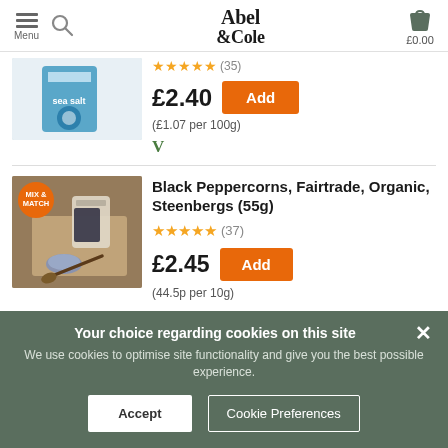Abel & Cole — Menu, Search, £0.00
[Figure (screenshot): Sea salt product image (partially visible, top of page)]
★★★★★ (35)
£2.40
(£1.07 per 100g)
V (vegan icon)
[Figure (screenshot): Black peppercorns in a jar with a Mix & Match badge, on a wooden board]
Black Peppercorns, Fairtrade, Organic, Steenbergs (55g)
★★★★★ (37)
£2.45
(44.5p per 10g)
Your choice regarding cookies on this site
We use cookies to optimise site functionality and give you the best possible experience.
Accept
Cookie Preferences